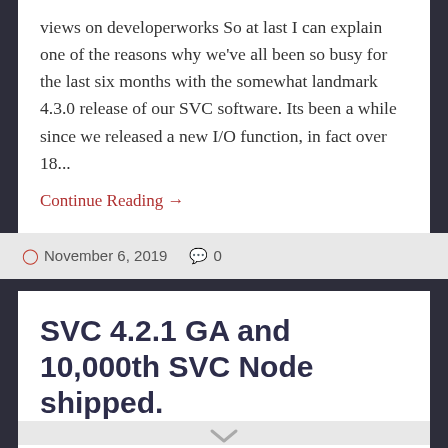views on developerworks So at last I can explain one of the reasons why we've all been so busy for the last six months with the somewhat landmark 4.3.0 release of our SVC software. Its been a while since we released a new I/O function, in fact over 18...
Continue Reading →
November 6, 2019  0
SVC 4.2.1 GA and 10,000th SVC Node shipped.
[Figure (illustration): Partial circular arc or ring shape in light blue/cyan color, partially visible at bottom of page]